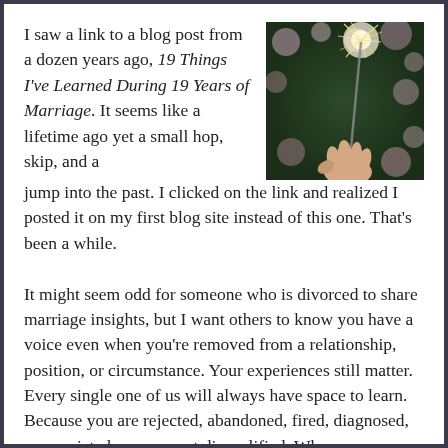I saw a link to a blog post from a dozen years ago, 19 Things I've Learned During 19 Years of Marriage. It seems like a lifetime ago yet a small hop, skip, and a jump into the past. I clicked on the link and realized I posted it on my first blog site instead of this one. That's been a while.
[Figure (photo): A hand holding a sparkler against a bokeh background of colorful out-of-focus lights, likely a celebration scene.]
It might seem odd for someone who is divorced to share marriage insights, but I want others to know you have a voice even when you're removed from a relationship, position, or circumstance. Your experiences still matter. Every single one of us will always have space to learn. Because you are rejected, abandoned, fired, diagnosed, or convicted, you are not disqualified. When we are humble, we can learn—